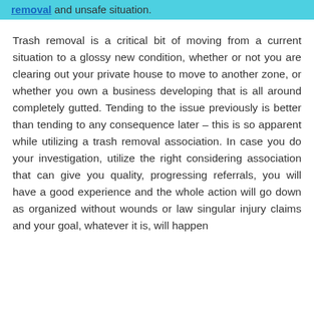removal and unsafe situation.
Trash removal is a critical bit of moving from a current situation to a glossy new condition, whether or not you are clearing out your private house to move to another zone, or whether you own a business developing that is all around completely gutted. Tending to the issue previously is better than tending to any consequence later – this is so apparent while utilizing a trash removal association. In case you do your investigation, utilize the right considering association that can give you quality, progressing referrals, you will have a good experience and the whole action will go down as organized without wounds or law singular injury claims and your goal, whatever it is, will happen